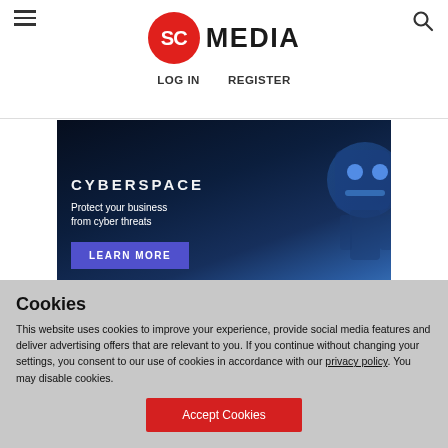SC MEDIA — LOG IN | REGISTER
[Figure (advertisement): Cybersecurity advertisement banner with dark blue background, robot/AI imagery, text 'CYBERSPACE', 'Protect your business from cyber threats', and a 'LEARN MORE' button in purple]
Cookies
This website uses cookies to improve your experience, provide social media features and deliver advertising offers that are relevant to you. If you continue without changing your settings, you consent to our use of cookies in accordance with our privacy policy. You may disable cookies.
Accept Cookies